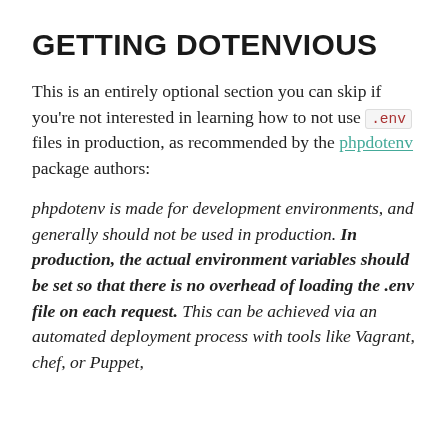GETTING DOTENVIOUS
This is an entirely optional section you can skip if you're not interested in learning how to not use .env files in production, as recommended by the phpdotenv package authors:
phpdotenv is made for development environments, and generally should not be used in production. In production, the actual environment variables should be set so that there is no overhead of loading the .env file on each request. This can be achieved via an automated deployment process with tools like Vagrant, chef, or Puppet,